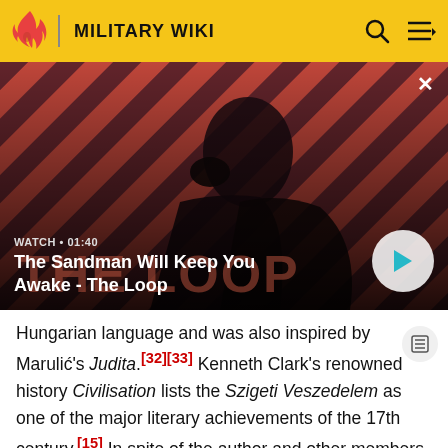MILITARY WIKI
[Figure (screenshot): Video thumbnail showing a dark-clad figure with a raven on shoulder against a red and black diagonal stripe background. Title overlay reads: WATCH • 01:40 / The Sandman Will Keep You Awake - The Loop]
Hungarian language and was also inspired by Marulić's Judita.[32][33] Kenneth Clark's renowned history Civilisation lists the Szigeti Veszedelem as one of the major literary achievements of the 17th century.[15] In spite of the author and other members of Zrinsky family being fierce enemies of the Turks, the poem never